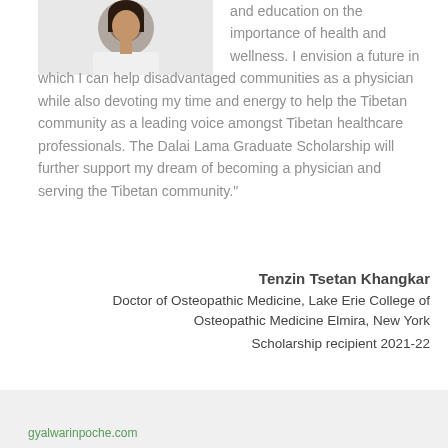[Figure (photo): Portrait photo of Tenzin Tsetan Khangkar, a young woman with dark hair against a light background]
and education on the importance of health and wellness. I envision a future in which I can help disadvantaged communities as a physician while also devoting my time and energy to help the Tibetan community as a leading voice amongst Tibetan healthcare professionals. The Dalai Lama Graduate Scholarship will further support my dream of becoming a physician and serving the Tibetan community."
Tenzin Tsetan Khangkar
Doctor of Osteopathic Medicine, Lake Erie College of Osteopathic Medicine Elmira, New York
Scholarship recipient 2021-22
gyalwarinpoche.com